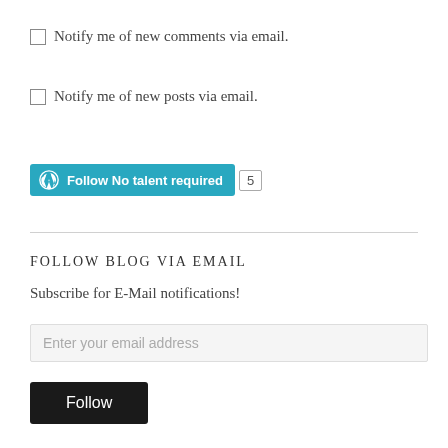Notify me of new comments via email.
Notify me of new posts via email.
[Figure (other): Follow button for 'No talent required' blog with WordPress logo and follower count of 5]
FOLLOW BLOG VIA EMAIL
Subscribe for E-Mail notifications!
Enter your email address
Follow